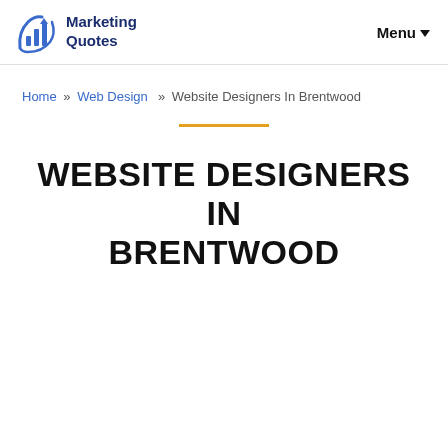Marketing Quotes   Menu
Home » Web Design » Website Designers In Brentwood
WEBSITE DESIGNERS IN BRENTWOOD